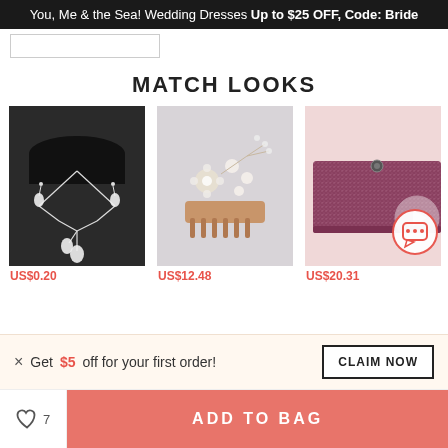You, Me & the Sea! Wedding Dresses Up to $25 OFF, Code: Bride
[Figure (screenshot): Search bar placeholder with empty text input box]
MATCH LOOKS
[Figure (photo): Silver crystal teardrop necklace and earrings set on black display stand]
[Figure (photo): Rose gold hair comb with crystal and pearl floral decorations on grey background]
[Figure (photo): Dark pink/mauve glittery rectangular clutch bag on pink background]
US$0.20
US$12.48
US$20.31
× Get $5 off for your first order!
CLAIM NOW
7
ADD TO BAG